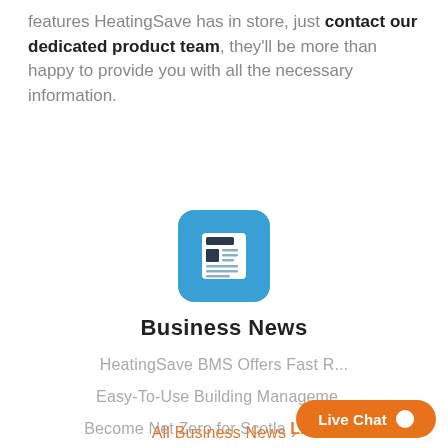features HeatingSave has in store, just contact our dedicated product team, they'll be more than happy to provide you with all the necessary information.
[Figure (illustration): Blue rounded-square icon with a newspaper/document graphic in white]
Business News
HeatingSave BMS Offers Fast R...
Easy-To-Use Building Manageme...
Become Net Zero for Scotla...
All Business News >